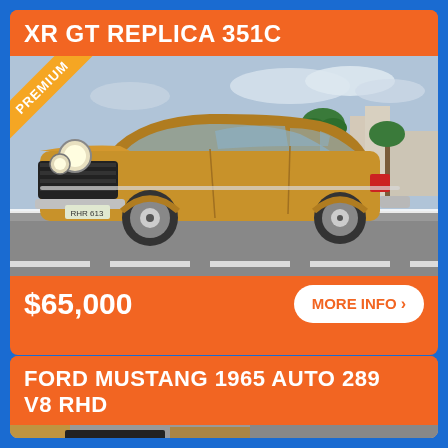XR GT REPLICA 351C
[Figure (photo): Gold/tan classic Australian Ford XR Falcon GT Replica with 351C engine, photographed from the front-left on a coastal road. A 'PREMIUM' diagonal badge is shown in the top-left corner of the photo.]
$65,000
MORE INFO >
FORD MUSTANG 1965 AUTO 289 V8 RHD
[Figure (photo): Partial view of a classic Ford Mustang, cropped at the bottom of the page.]